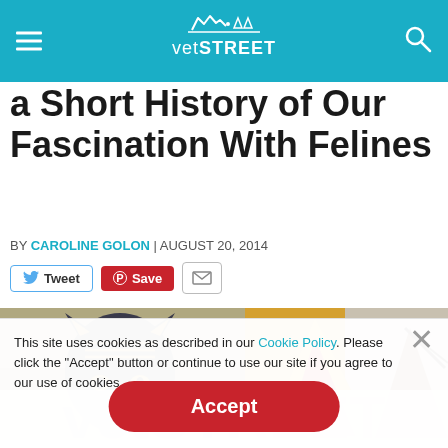vetSTREET
a Short History of Our Fascination With Felines
BY CAROLINE GOLON | AUGUST 20, 2014
[Figure (screenshot): Social share buttons: Tweet (Twitter blue border), Save (red Pinterest button), email icon]
[Figure (photo): Two photos side by side: left shows a dark Egyptian cat statue with gold-striped ears; right shows a yellow/orange cat ear object with red inner ear]
This site uses cookies as described in our Cookie Policy. Please click the "Accept" button or continue to use our site if you agree to our use of cookies.
[Figure (other): Accept button - red rounded rectangle with white bold Accept text]